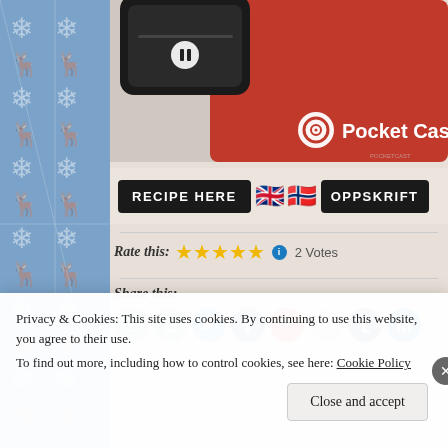[Figure (screenshot): Pocket Casts podcast app advertisement banner with red phone mockup and logo]
[Figure (screenshot): Recipe Here button with UK and Norwegian flags and OPPSKRIFT button]
Rate this: ★★★★★ ℹ 2 Votes
Share this:
[Figure (screenshot): Social sharing icons: email, print, Twitter, Facebook, Pinterest, share, Tumblr, LinkedIn]
Privacy & Cookies: This site uses cookies. By continuing to use this website, you agree to their use. To find out more, including how to control cookies, see here: Cookie Policy
Close and accept